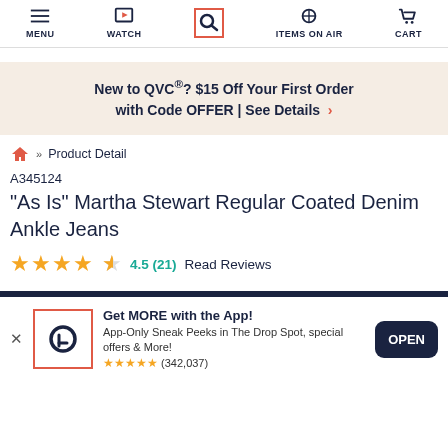MENU  WATCH  [Search]  ITEMS ON AIR  CART
New to QVC®? $15 Off Your First Order with Code OFFER | See Details ›
🏠 » Product Detail
A345124
"As Is" Martha Stewart Regular Coated Denim Ankle Jeans
4.5 (21)  Read Reviews
Get MORE with the App! App-Only Sneak Peeks in The Drop Spot, special offers & More! ★★★★★ (342,037)